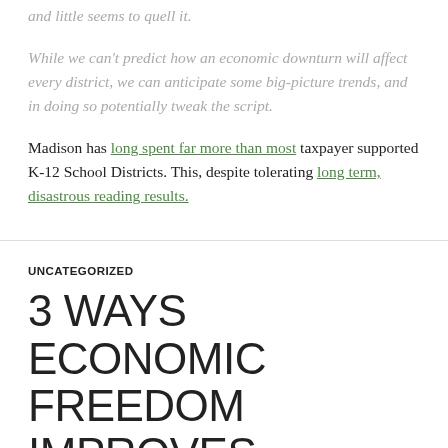and little seems to quell it.
While we can't predict how an economic downturn will affect every district, we can anticipate some big-picture trends, and in doing so potentially tweak the script.
Madison has long spent far more than most taxpayer supported K-12 School Districts. This, despite tolerating long term, disastrous reading results.
UNCATEGORIZED
3 WAYS ECONOMIC FREEDOM IMPROVES QUALITY OF LIFE